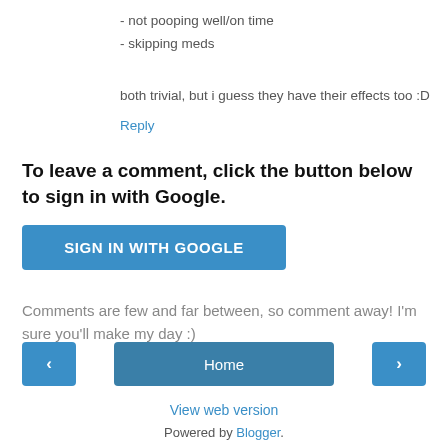- not pooping well/on time
- skipping meds
both trivial, but i guess they have their effects too :D
Reply
To leave a comment, click the button below to sign in with Google.
SIGN IN WITH GOOGLE
Comments are few and far between, so comment away! I'm sure you'll make my day :)
< Home > View web version Powered by Blogger.